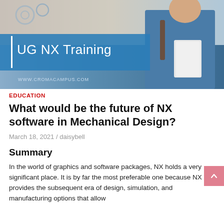[Figure (photo): Hero banner image showing 'UG NX Training' text on a blue semi-transparent overlay, with a smiling young man carrying a backpack and books. Bottom left shows URL www.cromacampus.com. Background includes engineering/mechanical tools imagery.]
EDUCATION
What would be the future of NX software in Mechanical Design?
March 18, 2021 / daisybell
Summary
In the world of graphics and software packages, NX holds a very significant place. It is by far the most preferable one because NX provides the subsequent era of design, simulation, and manufacturing options that allow